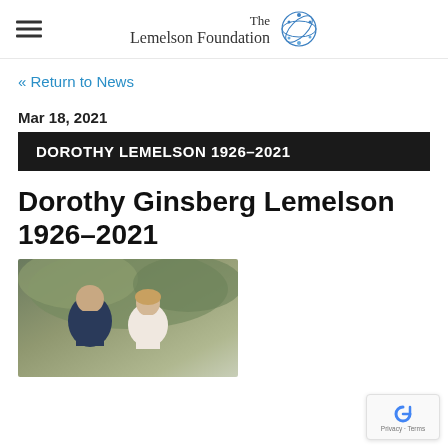The Lemelson Foundation
« Return to News
Mar 18, 2021
DOROTHY LEMELSON 1926–2021
Dorothy Ginsberg Lemelson 1926–2021
[Figure (photo): A man in a dark suit and a woman smiling outdoors with green trees in the background]